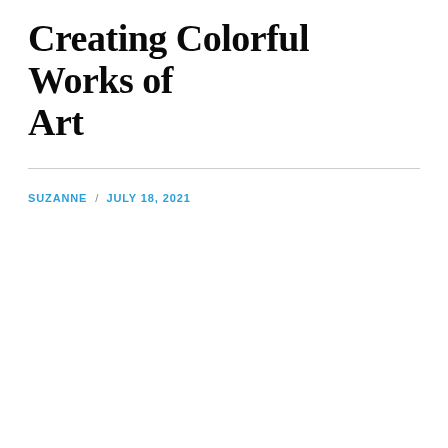Creating Colorful Works of Art
SUZANNE / JULY 18, 2021